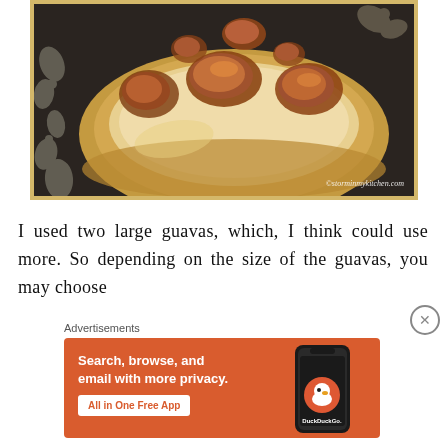[Figure (photo): Close-up photo of a guava tart or pastry with caramelized guava slices on top, on a dark surface with decorative floral border elements. Watermark reads ©storminmykitchen.com]
I used two large guavas, which, I think could use more. So depending on the size of the guavas, you may choose
Advertisements
[Figure (screenshot): DuckDuckGo advertisement banner with orange background. Text: 'Search, browse, and email with more privacy. All in One Free App' with DuckDuckGo logo and phone image.]